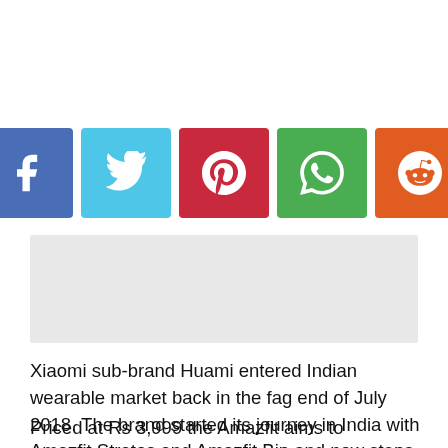[Figure (other): Social media sharing buttons: Facebook (blue), Twitter (light blue), Pinterest (red), WhatsApp (green), Reddit (orange)]
[Figure (other): Gray advertisement/banner placeholder box]
Xiaomi sub-brand Huami entered Indian wearable market back in the fag end of July 2018. The brand started its journey in India with Amazfit Stratos and Amazfit Bip and now steps into the more affordable wearable segment with its first fitness band, Amazfit Cor.
Priced at Rs 3,999 the Amazfit aims to compliment Xiaomi's